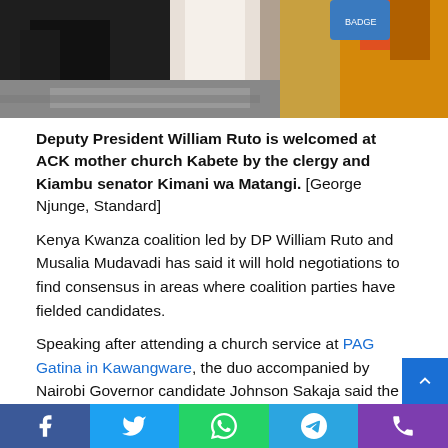[Figure (photo): Partial photo showing people at a church event, visible legs and colorful fabric at top of page]
Deputy President William Ruto is welcomed at ACK mother church Kabete by the clergy and Kiambu senator Kimani wa Matangi. [George Njunge, Standard]
Kenya Kwanza coalition led by DP William Ruto and Musalia Mudavadi has said it will hold negotiations to find consensus in areas where coalition parties have fielded candidates.
Speaking after attending a church service at PAG Gatina in Kawangware, the duo accompanied by Nairobi Governor candidate Johnson Sakaja said the coalition intends to field one candidate per seat.